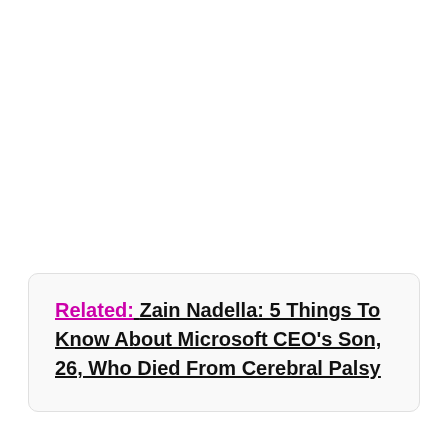Related: Zain Nadella: 5 Things To Know About Microsoft CEO's Son, 26, Who Died From Cerebral Palsy